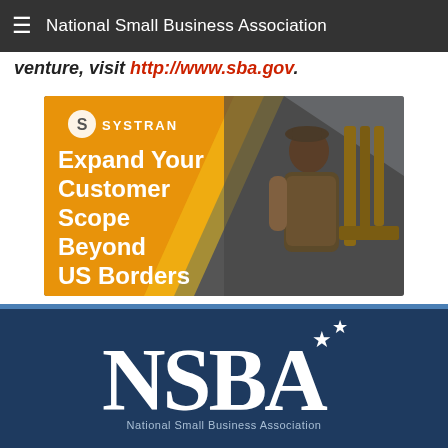National Small Business Association
venture, visit http://www.sba.gov.
[Figure (illustration): SYSTRAN advertisement: 'Expand Your Customer Scope Beyond US Borders. Quick, accurate, and affordable translations. LEARN MORE' with image of a craftsman working on a wooden chair.]
[Figure (logo): NSBA - National Small Business Association logo in white on dark blue background]